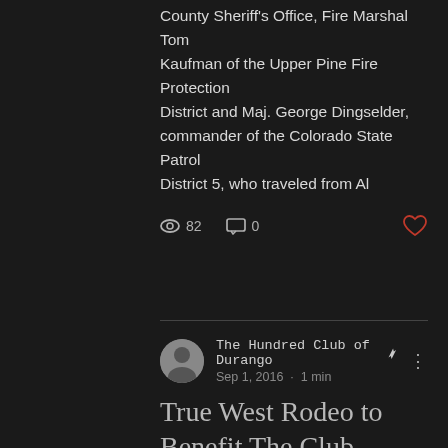County Sheriff's Office, Fire Marshal Tom Kaufman of the Upper Pine Fire Protection District and Maj. George Dingselder, commander of the Colorado State Patrol District 5, who traveled from Al
82 views · 0 comments
The Hundred Club of Durango · Sep 1, 2016 · 1 min
True West Rodeo to Benefit The Club
#durango100club